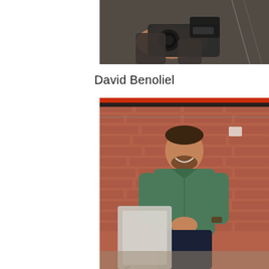[Figure (photo): Close-up photo of a person's hands holding a professional camera/device, partially cropped at top of page]
David Benoliel
[Figure (photo): Portrait photo of a smiling man (David Benoliel) in a green button-up shirt, leaning against a light-colored board/easel, standing in front of a brick wall background in what appears to be a creative office space]